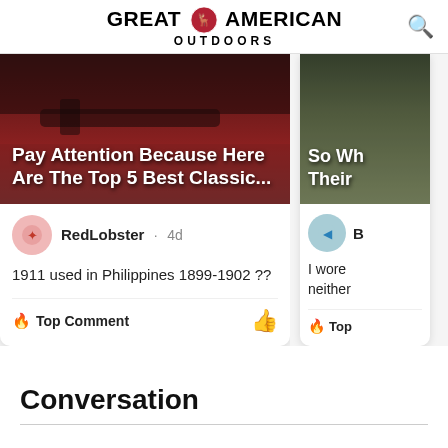GREAT AMERICAN OUTDOORS
[Figure (screenshot): Card with image of a revolver/pistol on a red fabric background. Title overlay: 'Pay Attention Because Here Are The Top 5 Best Classic...' Comment by RedLobster 4d: '1911 used in Philippines 1899-1902 ??' with Top Comment label and thumbs up icon.]
[Figure (screenshot): Partial card showing a second article. Title text: 'So Wh... Their...' with a partial comment starting 'B... I wore... neither...' and 'Top' label.]
Conversation